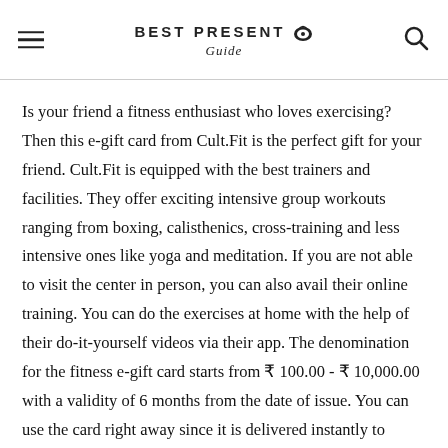BEST PRESENT Guide
Is your friend a fitness enthusiast who loves exercising? Then this e-gift card from Cult.Fit is the perfect gift for your friend. Cult.Fit is equipped with the best trainers and facilities. They offer exciting intensive group workouts ranging from boxing, calisthenics, cross-training and less intensive ones like yoga and meditation. If you are not able to visit the center in person, you can also avail their online training. You can do the exercises at home with the help of their do-it-yourself videos via their app. The denomination for the fitness e-gift card starts from ₹ 100.00 - ₹ 10,000.00 with a validity of 6 months from the date of issue. You can use the card right away since it is delivered instantly to